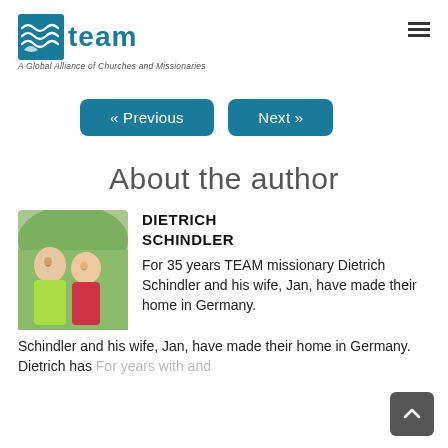team — A Global Alliance of Churches and Missionaries
« Previous
Next »
About the author
[Figure (photo): Photo of Dietrich Schindler and his wife Jan — a couple, man in yellow-green shirt and woman in red top, smiling outdoors]
DIETRICH SCHINDLER
For 35 years TEAM missionary Dietrich Schindler and his wife, Jan, have made their home in Germany. Dietrich has For years with and
Schindler and his wife, Jan, have made their home in Germany. Dietrich has For years with and